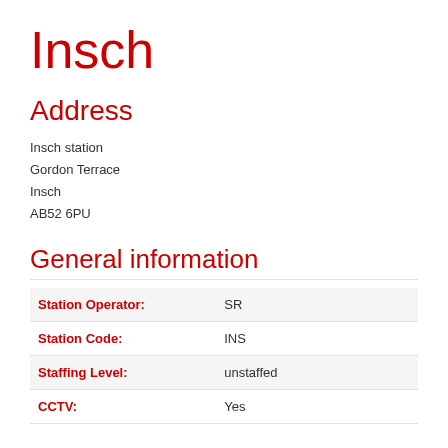Insch
Address
Insch station
Gordon Terrace
Insch
AB52 6PU
General information
|  |  |
| --- | --- |
| Station Operator: | SR |
| Station Code: | INS |
| Staffing Level: | unstaffed |
| CCTV: | Yes |